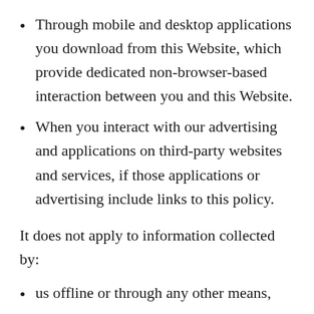Through mobile and desktop applications you download from this Website, which provide dedicated non-browser-based interaction between you and this Website.
When you interact with our advertising and applications on third-party websites and services, if those applications or advertising include links to this policy.
It does not apply to information collected by:
us offline or through any other means,